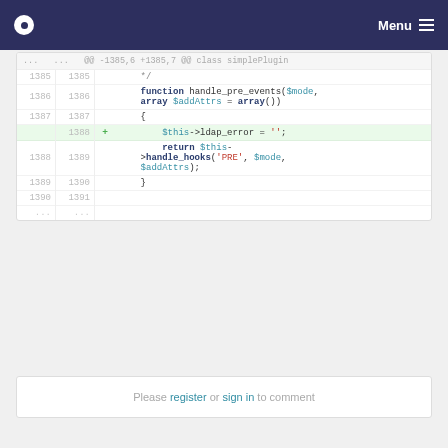Menu
[Figure (screenshot): Code diff view showing PHP code with line numbers. A new line 1388 is added (highlighted green): $this->ldap_error = ''; The context shows a function handle_pre_events($mode, array $addAttrs = array()) with a return statement calling $this->handle_hooks('PRE', $mode, $addAttrs);]
Please register or sign in to comment